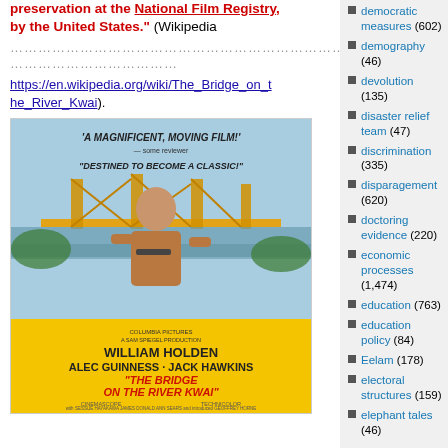preservation at the National Film Registry, by the United States." (Wikipedia .........................................................................) https://en.wikipedia.org/wiki/The_Bridge_on_the_River_Kwai).
[Figure (photo): Movie poster for 'The Bridge on the River Kwai' featuring William Holden, Alec Guinness, Jack Hawkins. Blue and yellow poster with text 'A Magnificent, Moving Film!' and 'Destined to Become a Classic!']
democratic measures (602)
demography (46)
devolution (135)
disaster relief team (47)
discrimination (335)
disparagement (620)
doctoring evidence (220)
economic processes (1,474)
education (763)
education policy (84)
Eelam (178)
electoral structures (159)
elephant tales (46)